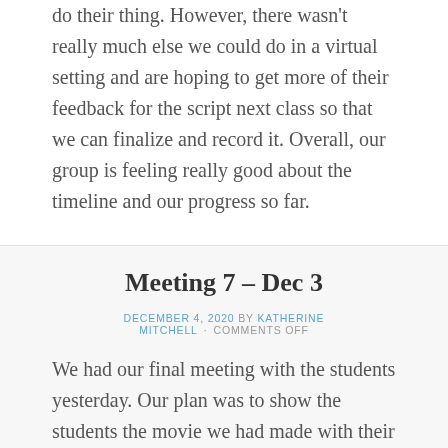do their thing. However, there wasn't really much else we could do in a virtual setting and are hoping to get more of their feedback for the script next class so that we can finalize and record it. Overall, our group is feeling really good about the timeline and our progress so far.
Meeting 7 – Dec 3
DECEMBER 4, 2020 BY KATHERINE MITCHELL · COMMENTS OFF
We had our final meeting with the students yesterday. Our plan was to show the students the movie we had made with their photos, however we recieved the photos an hour before our meeting began. This proved was a nice coincidence because instead of doing that we were able to take some voice recordings of the